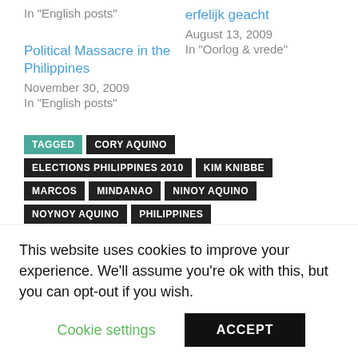In "English posts"
erfelijk geacht
August 13, 2009
In "Oorlog & vrede"
Political Massacre in the Philippines
November 30, 2009
In "English posts"
TAGGED CORY AQUINO ELECTIONS PHILIPPINES 2010 KIM KNIBBE MARCOS MINDANAO NINOY AQUINO NOYNOY AQUINO PHILIPPINES
RELATED POSTS
This website uses cookies to improve your experience. We'll assume you're ok with this, but you can opt-out if you wish.
Cookie settings   ACCEPT